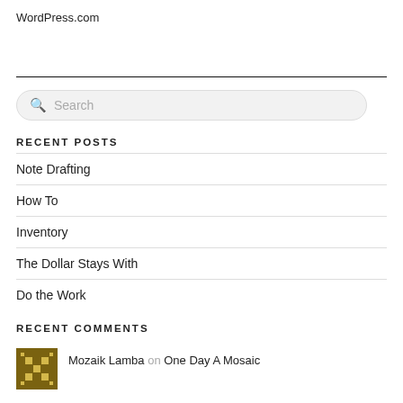WordPress.com
RECENT POSTS
Note Drafting
How To
Inventory
The Dollar Stays With
Do the Work
RECENT COMMENTS
Mozaik Lamba on One Day A Mosaic